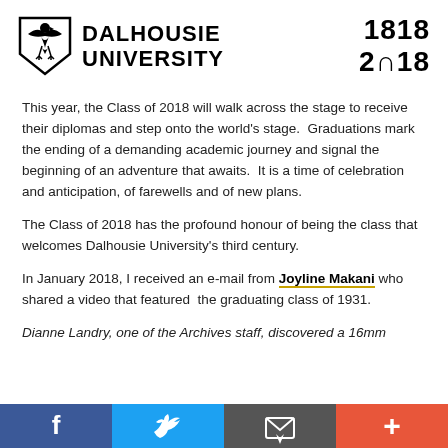[Figure (logo): Dalhousie University shield logo with eagle, and university name 'DALHOUSIE UNIVERSITY' with anniversary '1818 2018']
This year, the Class of 2018 will walk across the stage to receive their diplomas and step onto the world's stage.  Graduations mark the ending of a demanding academic journey and signal the beginning of an adventure that awaits.  It is a time of celebration and anticipation, of farewells and of new plans.
The Class of 2018 has the profound honour of being the class that welcomes Dalhousie University's third century.
In January 2018, I received an e-mail from Joyline Makani who shared a video that featured  the graduating class of 1931.
Dianne Landry, one of the Archives staff, discovered a 16mm
f  Twitter  Email  +